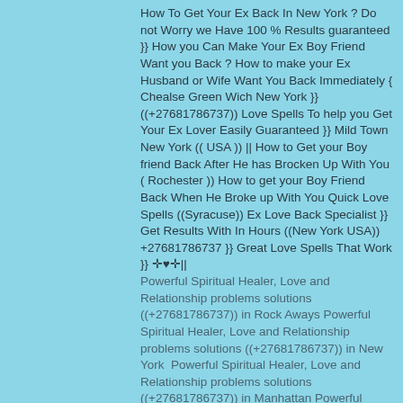How To Get Your Ex Back In New York ? Do not Worry we Have 100 % Results guaranteed }} How you Can Make Your Ex Boy Friend Want you Back ? How to make your Ex Husband or Wife Want You Back Immediately { Chealse Green Wich New York }} ((+27681786737)) Love Spells To help you Get Your Ex Lover Easily Guaranteed }} Mild Town New York (( USA )) || How to Get your Boy friend Back After He has Brocken Up With You ( Rochester )) How to get your Boy Friend Back When He Broke up With You Quick Love Spells ((Syracuse)) Ex Love Back Specialist }} Get Results With In Hours ((New York USA)) +27681786737 }} Great Love Spells That Work }} ✣♥✣|| Powerful Spiritual Healer, Love and Relationship problems solutions ((+27681786737)) in Rock Aways Powerful Spiritual Healer, Love and Relationship problems solutions ((+27681786737)) in New York Powerful Spiritual Healer, Love and Relationship problems solutions ((+27681786737)) in Manhattan Powerful Spiritual Healer, Love and